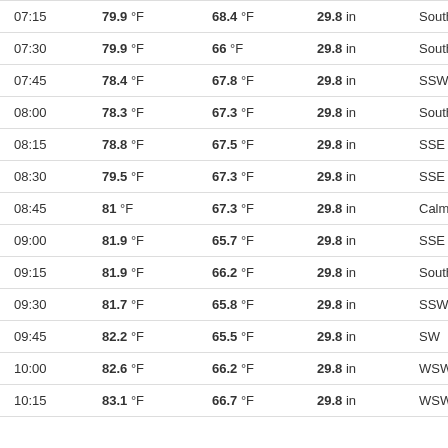| Time | Temp | Dew Point | Pressure | Wind Dir | Wind Speed |
| --- | --- | --- | --- | --- | --- |
| 07:15 | 79.9 °F | 68.4 °F | 29.8 in | South | 1 mp |
| 07:30 | 79.9 °F | 66 °F | 29.8 in | South | 1 mp |
| 07:45 | 78.4 °F | 67.8 °F | 29.8 in | SSW | 2 mp |
| 08:00 | 78.3 °F | 67.3 °F | 29.8 in | South | 1 mp |
| 08:15 | 78.8 °F | 67.5 °F | 29.8 in | SSE | 2 mp |
| 08:30 | 79.5 °F | 67.3 °F | 29.8 in | SSE | 1 mp |
| 08:45 | 81 °F | 67.3 °F | 29.8 in | Calm |  |
| 09:00 | 81.9 °F | 65.7 °F | 29.8 in | SSE | 2 mp |
| 09:15 | 81.9 °F | 66.2 °F | 29.8 in | South | 2 mp |
| 09:30 | 81.7 °F | 65.8 °F | 29.8 in | SSW | 2 mp |
| 09:45 | 82.2 °F | 65.5 °F | 29.8 in | SW | 3 mp |
| 10:00 | 82.6 °F | 66.2 °F | 29.8 in | WSW | 2 mp |
| 10:15 | 83.1 °F | 66.7 °F | 29.8 in | WSW | 1 mp |